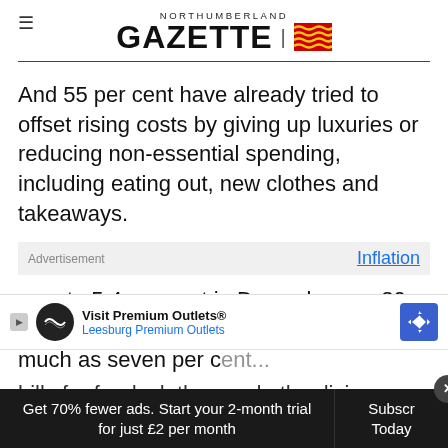NORTHUMBERLAND GAZETTE
And 55 per cent have already tried to offset rising costs by giving up luxuries or reducing non-essential spending, including eating out, new clothes and takeaways.
Advertisement   Inflation rose to 5.4 per cent in December – a 30-year-high – and is predicted to hit as much as seven per cent... higher bills for food, clothes and other living costs.
Get 70% fewer ads. Start your 2-month trial for just £2 per month   Subscribe Today